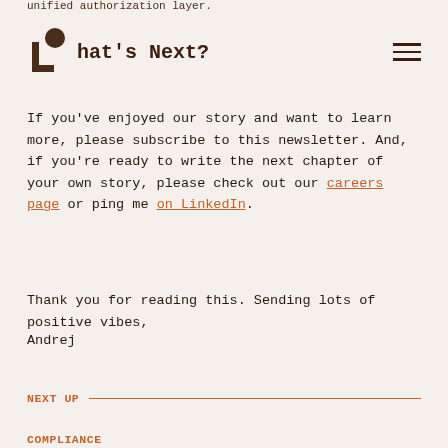unified authorization layer.
What's Next?
If you've enjoyed our story and want to learn more, please subscribe to this newsletter. And, if you're ready to write the next chapter of your own story, please check out our careers page or ping me on LinkedIn.
Thank you for reading this. Sending lots of positive vibes,
Andrej
NEXT UP
COMPLIANCE